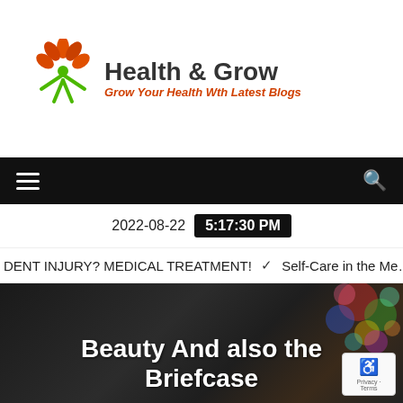[Figure (logo): Health & Grow website logo with stylized green figure and orange leaf design, text reads 'Health & Grow' and 'Grow Your Health Wth Latest Blogs']
Navigation bar with hamburger menu and search icon
2022-08-22   5:17:30 PM
DENT INJURY? MEDICAL TREATMENT!   Self-Care in the Me…
Beauty And also the Briefcase
[Figure (photo): Dark hero image showing a laptop with colorful bokeh lights in the background, title text overlaid]